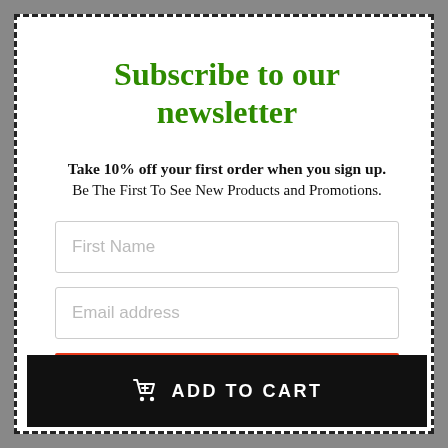Subscribe to our newsletter
Take 10% off your first order when you sign up. Be The First To See New Products and Promotions.
First Name
Email address
Get 10% Off
ADD TO CART